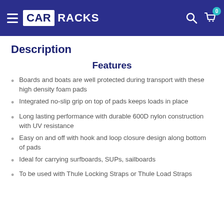CAR RACKS
Description
Features
Boards and boats are well protected during transport with these high density foam pads
Integrated no-slip grip on top of pads keeps loads in place
Long lasting performance with durable 600D nylon construction with UV resistance
Easy on and off with hook and loop closure design along bottom of pads
Ideal for carrying surfboards, SUPs, sailboards
To be used with Thule Locking Straps or Thule Load Straps